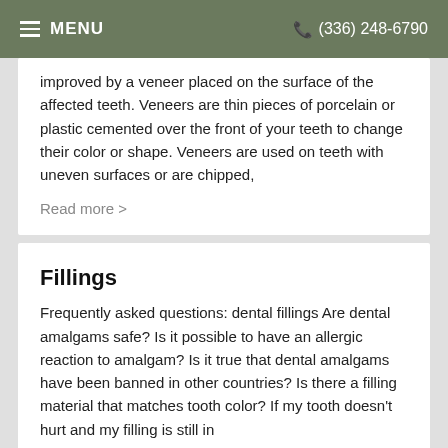MENU  (336) 248-6790
improved by a veneer placed on the surface of the affected teeth. Veneers are thin pieces of porcelain or plastic cemented over the front of your teeth to change their color or shape. Veneers are used on teeth with uneven surfaces or are chipped,
Read more >
Fillings
Frequently asked questions: dental fillings Are dental amalgams safe? Is it possible to have an allergic reaction to amalgam? Is it true that dental amalgams have been banned in other countries? Is there a filling material that matches tooth color? If my tooth doesn't hurt and my filling is still in